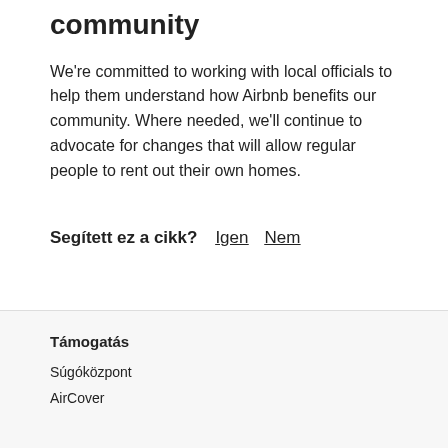community
We're committed to working with local officials to help them understand how Airbnb benefits our community. Where needed, we'll continue to advocate for changes that will allow regular people to rent out their own homes.
Segített ez a cikk?  Igen  Nem
Támogatás
Súgóközpont
AirCover